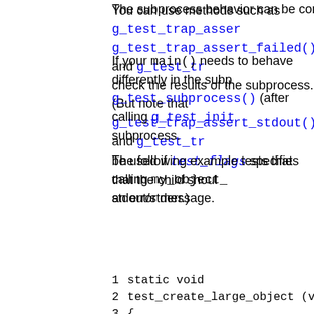The subprocess behavior can be configured with the c...
You can use methods such as g_test_trap_assert...(), g_test_trap_assert_failed(), and g_test_tr...() to check the results of the subprocess. (But note that g_test_trap_assert_stdout() and g_test_tr...() can only be used if test_flags specifies that the child should capture stdout/stderr.)
If your main() needs to behave differently in the subp...cess, call g_test_subprocess() (after calling g_test_init...()) to determine if the test is running in a subprocess.
The following example tests that calling my_object_n...() with a large parameter causes an error message.
[Figure (screenshot): Code block showing a C function test_create_large_object with line numbers 1-11, using g_test_subprocess, my_object_new, and g_test_trap_subprocess]